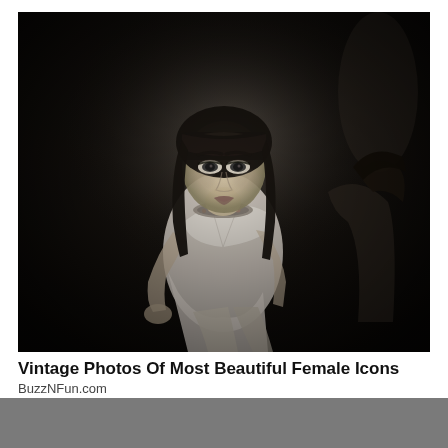[Figure (photo): Black and white vintage photograph of a woman with dark bobbed hair and bangs, wearing a white dress and jeweled choker necklace, seated in an ornate chair in a dramatically lit studio setting, looking directly at camera with a serious expression.]
Vintage Photos Of Most Beautiful Female Icons
BuzzNFun.com